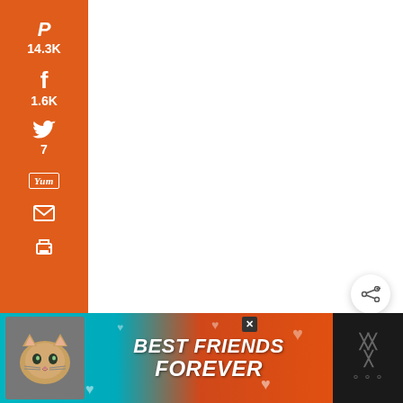[Figure (screenshot): Social media share sidebar with orange background showing Pinterest (14.3K), Facebook (1.6K), Twitter (7), Yummly, Email, and Print buttons. Total 15.8K SHARES shown below. A floating share icon button is on the right side. An advertisement banner at the bottom shows a cat with 'BEST FRIENDS FOREVER' text.]